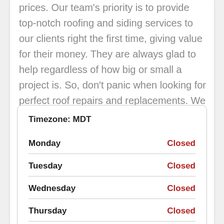prices. Our team's priority is to provide top-notch roofing and siding services to our clients right the first time, giving value for their money. They are always glad to help regardless of how big or small a project is. So, don't panic when looking for perfect roof repairs and replacements. We can help you!
|  | Timezone: MDT |  |
| --- | --- | --- |
| Monday | Closed |
| Tuesday | Closed |
| Wednesday | Closed |
| Thursday | Closed |
| Friday | Closed |